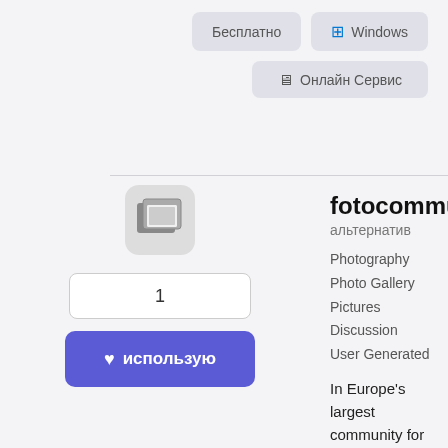[Figure (infographic): Tag buttons: Бесплатно and Windows (with Windows logo icon) in light grey pill buttons]
[Figure (infographic): Tag button: Онлайн Сервис (Online Service) with monitor icon in light grey pill button]
[Figure (logo): fotocommunity app icon: dark photo frames icon on light grey rounded square background]
1
[Figure (infographic): Blue rounded button with heart icon and text ИСПОЛЬЗУЮ (I USE IT)]
fotocommunity  13
альтернатив
Photography    Photo Gallery    Pictures    Discussion    User Generated
In Europe&#39;s largest community for premium photography you&#39;ll find Europe very best photos: all the photos, images and pictures that our users think best can be found in the user-generated
...
Бесплатно